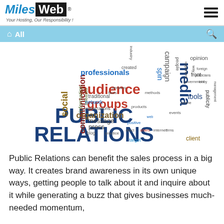[Figure (logo): MilesWeb logo with tagline 'Your Hosting, Our Responsibility!']
[Figure (infographic): Public Relations word cloud featuring terms: audience, groups, media, PUBLIC RELATIONS, communication, social, organization, message, press, blog, professionals, information, releases, traditional, network, organizations, spin, campaign, tools, publicity, opinion, front, government, client, target, internet, affairs, firms, positive, practice, direct, political, products, events, online, methods, persons, facts, web, created, industry, people, opponent, way, foreign, politicians, lobby, management]
Public Relations can benefit the sales process in a big way. It creates brand awareness in its own unique ways, getting people to talk about it and inquire about it while generating a buzz that gives businesses much-needed momentum,